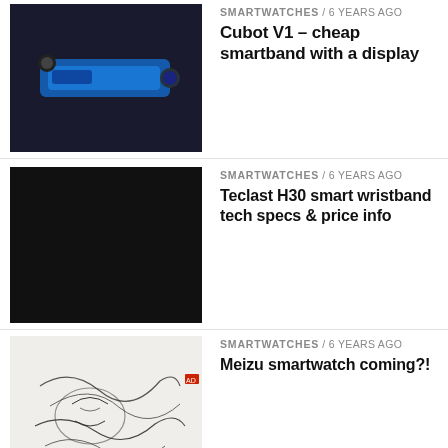[Figure (photo): Cubot V1 smartband product photo on dark background]
SMARTWATCHES / 6 years ago
Cubot V1 – cheap smartband with a display
[Figure (photo): Black image placeholder for Teclast H30 article]
SMARTWATCHES / 6 years ago
Teclast H30 smart wristband tech specs & price info
[Figure (illustration): Sketch/drawing for Meizu smartwatch article]
SMARTWATCHES / 6 years ago
Meizu smartwatch coming?!
[Figure (photo): Black image placeholder for Sma 07 article]
SMARTWATCHES / 6 years ago
Sma 07 Bluetooth Smart Bracelet Announce
[Figure (photo): Rufus Cuff wearable promotional image with person wearing sunglasses]
SMARTWATCHES / 6 years ago
Rufus Cuff is geeky wearable which can do much more than the Apple Watch